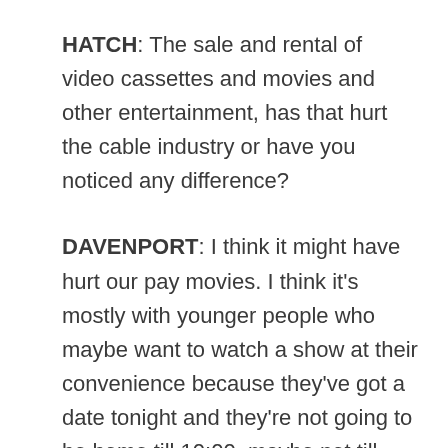HATCH: The sale and rental of video cassettes and movies and other entertainment, has that hurt the cable industry or have you noticed any difference?
DAVENPORT: I think it might have hurt our pay movies. I think it's mostly with younger people who maybe want to watch a show at their convenience because they've got a date tonight and they're not going to be home till 10:00, maybe not till 12:00. And they want to